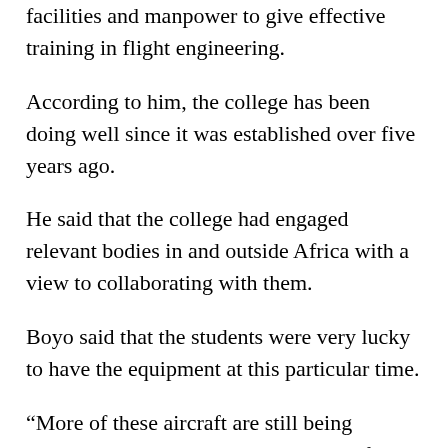facilities and manpower to give effective training in flight engineering.
According to him, the college has been doing well since it was established over five years ago.
He said that the college had engaged relevant bodies in and outside Africa with a view to collaborating with them.
Boyo said that the students were very lucky to have the equipment at this particular time.
“More of these aircraft are still being expected by the institution, especially from the Police, Army, Navy